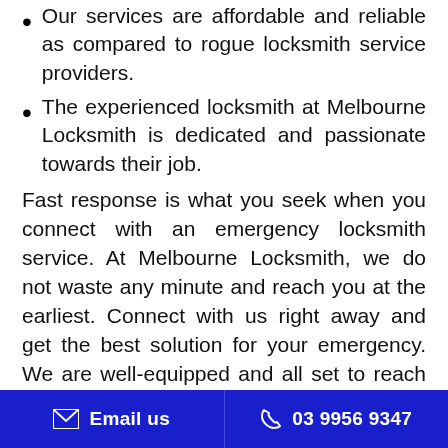Our services are affordable and reliable as compared to rogue locksmith service providers.
The experienced locksmith at Melbourne Locksmith is dedicated and passionate towards their job.
Fast response is what you seek when you connect with an emergency locksmith service. At Melbourne Locksmith, we do not waste any minute and reach you at the earliest. Connect with us right away and get the best solution for your emergency. We are well-equipped and all set to reach your sites and offer you a reliable
Email us  03 9956 9347